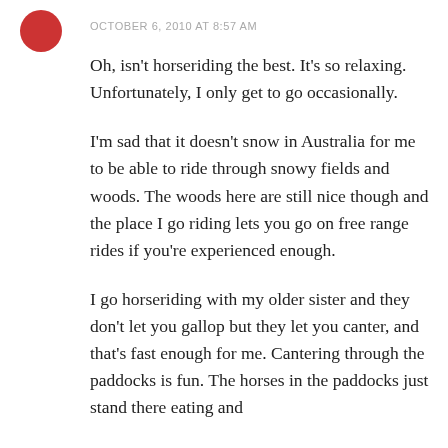OCTOBER 6, 2010 AT 8:57 AM
Oh, isn't horseriding the best. It's so relaxing. Unfortunately, I only get to go occasionally.
I'm sad that it doesn't snow in Australia for me to be able to ride through snowy fields and woods. The woods here are still nice though and the place I go riding lets you go on free range rides if you're experienced enough.
I go horseriding with my older sister and they don't let you gallop but they let you canter, and that's fast enough for me. Cantering through the paddocks is fun. The horses in the paddocks just stand there eating and